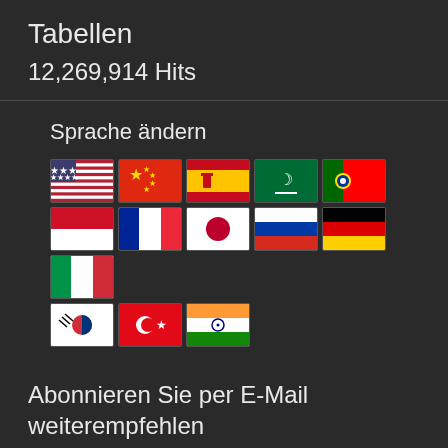Tabellen
12,269,914 Hits
Sprache ändern
[Figure (infographic): Row of country flag icons representing language options: USA, China, Spain, Arabic, Portugal, Indonesia, France, Japan, Russia, Germany, Italy (row 1); South Korea, Turkey, India (row 2)]
Abonnieren Sie per E-Mail weiterempfehlen
Geben Sie Ihre E-Mail-Adresse ein, um diese Datenbank zu abonnieren und Benachrichtigungen über neue Beiträge